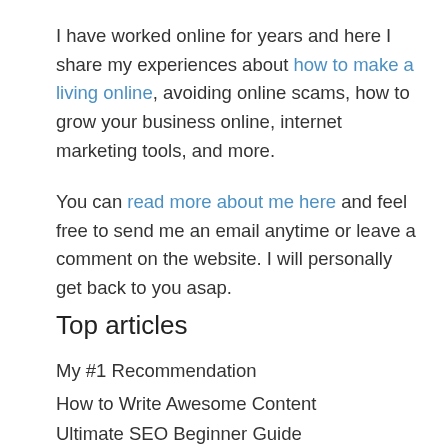I have worked online for years and here I share my experiences about how to make a living online, avoiding online scams, how to grow your business online, internet marketing tools, and more.
You can read more about me here and feel free to send me an email anytime or leave a comment on the website. I will personally get back to you asap.
Top articles
My #1 Recommendation
How to Write Awesome Content
Ultimate SEO Beginner Guide
Get Ideas for Blog Posts
Beginners Guide to Affiliate Marketing